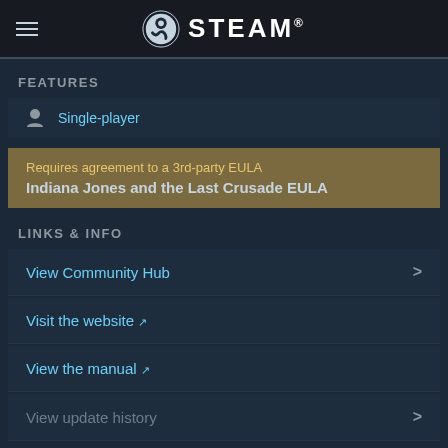STEAM
FEATURES
Single-player
Requires agreement to a 3rd-party EULA
Indiana Jones and the Last Crusade EULA
LINKS & INFO
View Community Hub
Visit the website
View the manual
View update history